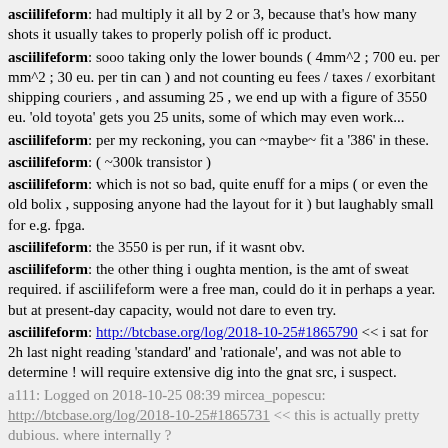asciilifeform: had multiply it all by 2 or 3, because that's how many shots it usually takes to properly polish off ic product.
asciilifeform: sooo taking only the lower bounds ( 4mm^2 ; 700 eu. per mm^2 ; 30 eu. per tin can ) and not counting eu fees / taxes / exorbitant shipping couriers , and assuming 25 , we end up with a figure of 3550 eu. 'old toyota' gets you 25 units, some of which may even work...
asciilifeform: per my reckoning, you can ~maybe~ fit a '386' in these.
asciilifeform: ( ~300k transistor )
asciilifeform: which is not so bad, quite enuff for a mips ( or even the old bolix , supposing anyone had the layout for it ) but laughably small for e.g. fpga.
asciilifeform: the 3550 is per run, if it wasnt obv.
asciilifeform: the other thing i oughta mention, is the amt of sweat required. if asciilifeform were a free man, could do it in perhaps a year. but at present-day capacity, would not dare to even try.
asciilifeform: http://btcbase.org/log/2018-10-25#1865790 << i sat for 2h last night reading 'standard' and 'rationale', and was not able to determine ! will require extensive dig into the gnat src, i suspect.
a111: Logged on 2018-10-25 08:39 mircea_popescu: http://btcbase.org/log/2018-10-25#1865731 << this is actually pretty dubious. where internally ?
mircea_popescu: sabotage!
mircea_popescu: bvt *thumbsup*